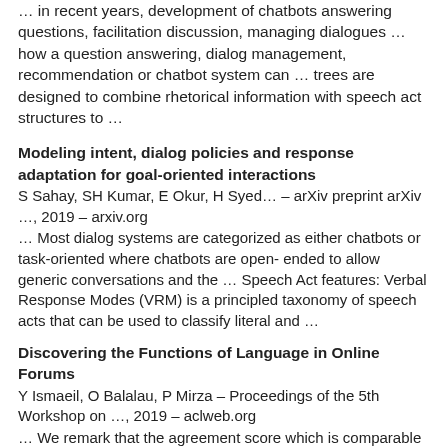… in recent years, development of chatbots answering questions, facilitation discussion, managing dialogues … how a question answering, dialog management, recommendation or chatbot system can … trees are designed to combine rhetorical information with speech act structures to …
Modeling intent, dialog policies and response adaptation for goal-oriented interactions
S Sahay, SH Kumar, E Okur, H Syed… – arXiv preprint arXiv …, 2019 – arxiv.org
… Most dialog systems are categorized as either chatbots or task-oriented where chatbots are open- ended to allow generic conversations and the … Speech Act features: Verbal Response Modes (VRM) is a principled taxonomy of speech acts that can be used to classify literal and …
Discovering the Functions of Language in Online Forums
Y Ismaeil, O Balalau, P Mirza – Proceedings of the 5th Workshop on …, 2019 – aclweb.org
… We remark that the agreement score which is comparable with re- sults reported for speech act labeling on Reddit (cf … message asks for a referential reply, while an emotive message calls for a thoughtful and empathetic response) are beneficial for building smarter chatbots …